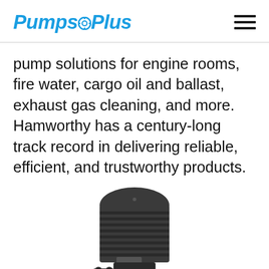PumpsPlus
pump solutions for engine rooms, fire water, cargo oil and ballast, exhaust gas cleaning, and more. Hamworthy has a century-long track record in delivering reliable, efficient, and trustworthy products.
[Figure (photo): Industrial pump unit with dark gray electric motor on top and pump body with pipe fittings at the bottom.]